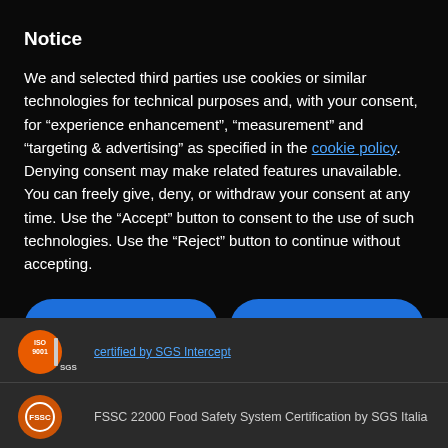Notice
We and selected third parties use cookies or similar technologies for technical purposes and, with your consent, for “experience enhancement”, “measurement” and “targeting & advertising” as specified in the cookie policy. Denying consent may make related features unavailable.
You can freely give, deny, or withdraw your consent at any time. Use the “Accept” button to consent to the use of such technologies. Use the “Reject” button to continue without accepting.
Reject
Accept
Learn more and customize
[Figure (logo): SGS ISO 9001 certification logo with orange circle and SGS text]
certified by SGS Intercept
[Figure (logo): FSSC 22000 certification circular logo with orange design]
FSSC 22000 Food Safety System Certification by SGS Italia